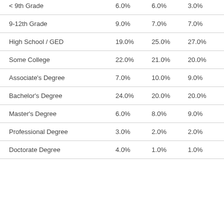| Education Level | Col1 | Col2 | Col3 |
| --- | --- | --- | --- |
| < 9th Grade | 6.0% | 6.0% | 3.0% |
| 9-12th Grade | 9.0% | 7.0% | 7.0% |
| High School / GED | 19.0% | 25.0% | 27.0% |
| Some College | 22.0% | 21.0% | 20.0% |
| Associate's Degree | 7.0% | 10.0% | 9.0% |
| Bachelor's Degree | 24.0% | 20.0% | 20.0% |
| Master's Degree | 6.0% | 8.0% | 9.0% |
| Professional Degree | 3.0% | 2.0% | 2.0% |
| Doctorate Degree | 4.0% | 1.0% | 1.0% |